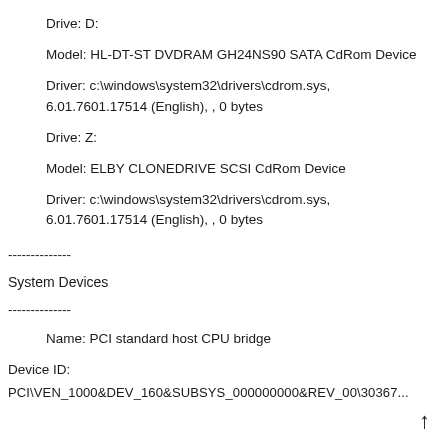Drive: D:
Model: HL-DT-ST DVDRAM GH24NS90 SATA CdRom Device
Driver: c:\windows\system32\drivers\cdrom.sys, 6.01.7601.17514 (English), , 0 bytes
Drive: Z:
Model: ELBY CLONEDRIVE SCSI CdRom Device
Driver: c:\windows\system32\drivers\cdrom.sys, 6.01.7601.17514 (English), , 0 bytes
--------------
System Devices
--------------
Name: PCI standard host CPU bridge
Device ID:
PCI\VEN_1000&DEV_160&SUBSYS_000000000&REV_00\30367...